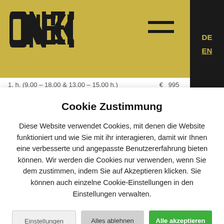ONSKI
Cookie Zustimmung
Diese Website verwendet Cookies, mit denen die Website funktioniert und wie Sie mit ihr interagieren, damit wir Ihnen eine verbesserte und angepasste Benutzererfahrung bieten können. Wir werden die Cookies nur verwenden, wenn Sie dem zustimmen, indem Sie auf Akzeptieren klicken. Sie können auch einzelne Cookie-Einstellungen in den Einstellungen verwalten.
Einstellungen
Alles ablehnen
Alle akzeptieren
| Dauer | € | Preis |
| --- | --- | --- |
| 2 h. (12.15 – 14.15 h.) | € | 135 |
| 3 h. (9.00 – 12.00 h.) | € | 195 |